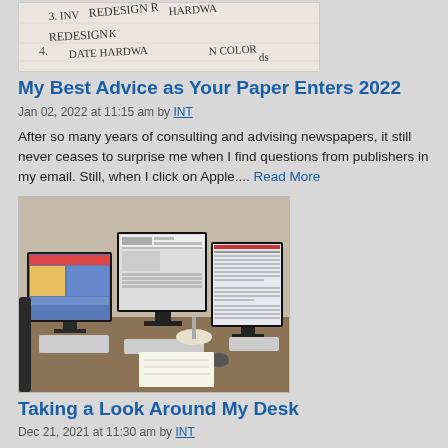[Figure (photo): Top portion of a handwritten list showing items: 3. INV..., REDESIGN K..., UPDATE HARDWA..., N COLOR, ...ds]
My Best Advice as Your Paper Enters 2022
Jan 02, 2022 at 11:15 am by INT
After so many years of consulting and advising newspapers, it still never ceases to surprise me when I find questions from publishers in my email. Still, when I click on Apple.... Read More
[Figure (photo): Photo of a desk setup with three computer monitors showing newspaper/website layouts, a desk lamp, keyboards, and office supplies on a wooden desk]
Taking a Look Around My Desk
Dec 21, 2021 at 11:30 am by INT